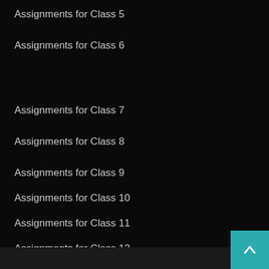Assignments for Class 5
Assignments for Class 6
Assignments for Class 7
Assignments for Class 8
Assignments for Class 9
Assignments for Class 10
Assignments for Class 11
Assignments for Class 12